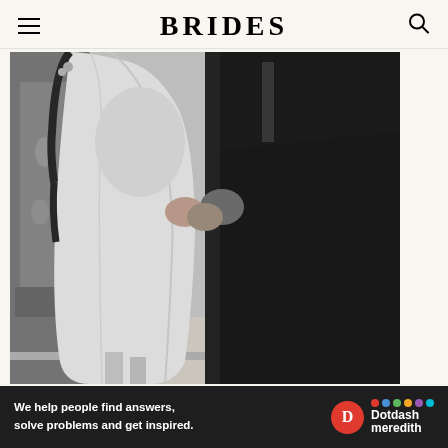BRIDES
[Figure (photo): Black and white photograph of a bride and groom from the torso down. The bride wears a white long-sleeved dress and the groom wears a dark suit. They are holding hands/embracing. A fireplace with floral decorations is visible in the background.]
Ad
[Figure (infographic): Dotdash Meredith advertisement banner on dark background. Text reads: 'We help people find answers, solve problems and get inspired.' with Dotdash Meredith logo featuring a red circle with D and colorful dots.]